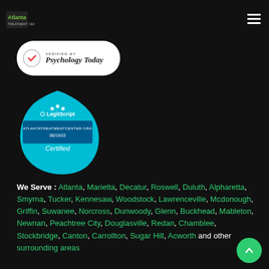[Figure (logo): Atlanta Treatment Center logo in white and green text]
[Figure (logo): Verified by Psychology Today badge - white rounded rectangle with checkmark and Psychology Today italic text]
[Figure (logo): LegitScript Certified badge - cyan hexagon shape with LegitScript logo, atlantatreatmentcenter.org, 08/19/22, Certified text]
We Serve : Atlanta, Marietta, Decatur, Roswell, Duluth, Alpharetta, Smyrna, Tucker, Kennesaw, Woodstock, Lawrenceville, Mcdonough, Griffin, Suwanee, Norcross, Dunwoody, Glenn, Buckhead, Mableton, Newnan, Peachtree City, Douglasville, Redan, Chamblee, Stockbridge, Canton, Carrollton, Sugar Hill, Acworth and other surrounding areas